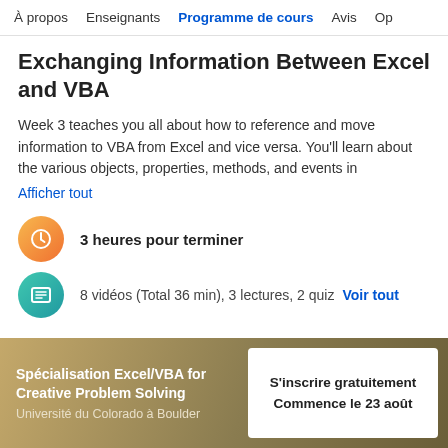À propos   Enseignants   Programme de cours   Avis   Op
Exchanging Information Between Excel and VBA
Week 3 teaches you all about how to reference and move information to VBA from Excel and vice versa. You'll learn about the various objects, properties, methods, and events in
Afficher tout
3 heures pour terminer
8 vidéos (Total 36 min), 3 lectures, 2 quiz   Voir tout
Spécialisation Excel/VBA for Creative Problem Solving
Université du Colorado à Boulder
S'inscrire gratuitement
Commence le 23 août